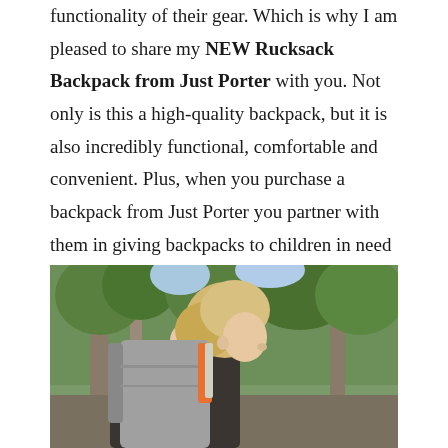functionality of their gear. Which is why I am pleased to share my NEW Rucksack Backpack from Just Porter with you. Not only is this a high-quality backpack, but it is also incredibly functional, comfortable and convenient. Plus, when you purchase a backpack from Just Porter you partner with them in giving backpacks to children in need too!
[Figure (photo): A blonde woman seen from the side carrying a gray rucksack backpack outdoors with trees in the background]